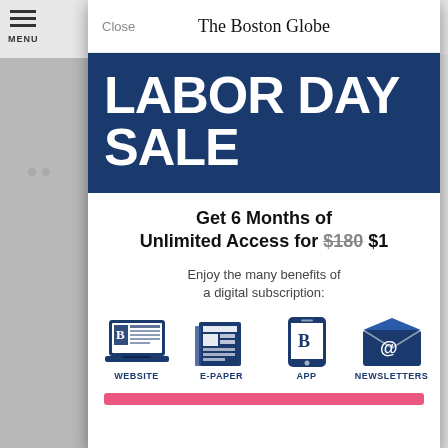The Boston Globe
LABOR DAY SALE
Get 6 Months of Unlimited Access for $180 $1
Enjoy the many benefits of a digital subscription:
[Figure (infographic): Four icons representing benefits: WEBSITE (laptop with newspaper), E-PAPER (newspaper), APP (smartphone), NEWSLETTERS (envelope with @ symbol)]